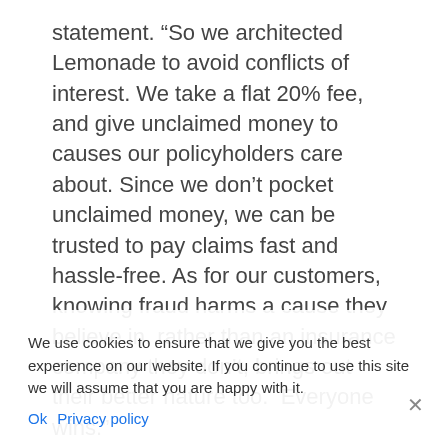statement. “So we architected Lemonade to avoid conflicts of interest. We take a flat 20% fee, and give unclaimed money to causes our policyholders care about. Since we don’t pocket unclaimed money, we can be trusted to pay claims fast and hassle-free. As for our customers, knowing fraud harms a cause they believe in, rather than an insurance company they don’t, brings out their better nature too.  Everyone wins.”
If a pool runs out of money, Lemonade pays claims still through external reinsurance. With help from people like Berkshire Hathaway and others in the reinsurance system.
We use cookies to ensure that we give you the best experience on our website. If you continue to use this site we will assume that you are happy with it.